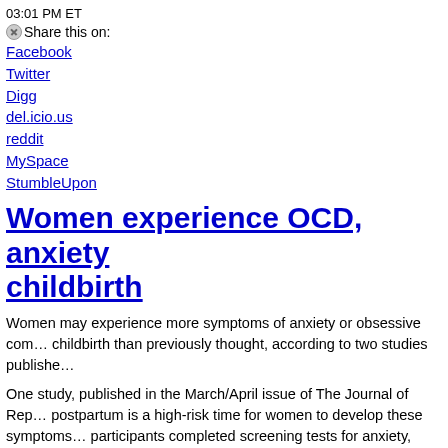03:01 PM ET
Share this on:
Facebook
Twitter
Digg
del.icio.us
reddit
MySpace
StumbleUpon
Women experience OCD, anxiety childbirth
Women may experience more symptoms of anxiety or obsessive compulsive disorder around childbirth than previously thought, according to two studies published...
One study, published in the March/April issue of The Journal of Reproductive Medicine, found that postpartum is a high-risk time for women to develop these symptoms. In this study, 461 participants completed screening tests for anxiety, depression and OCD during pregnancy. Then, 329 of the women completed the survey again. (The women in the study also underwent clinical diagnosis by a psychologist.)
"Postpartum women may experience obsessive compulsive symptoms...